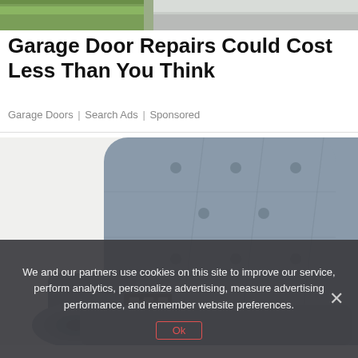[Figure (photo): Top strip showing a garage or driveway scene with grass and concrete pavement]
Garage Door Repairs Could Cost Less Than You Think
Garage Doors | Search Ads | Sponsored
[Figure (photo): Close-up photo of a grey tufted fabric recliner chair with a rolled arm and control mechanism visible]
We and our partners use cookies on this site to improve our service, perform analytics, personalize advertising, measure advertising performance, and remember website preferences.